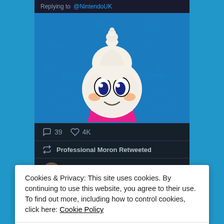Replying to @NintendoUK
[Figure (illustration): Kirby character styled as an ice cream cupcake with white swirl top, round white body with cute eyes and smile, pink cupcake wrapper, on a blue Nintendo-themed background with KIRBY watermarks]
39   4K
Professional Moron Retweeted
Rate My Plate
Cookies & Privacy: This site uses cookies. By continuing to use this website, you agree to their use. To find out more, including how to control cookies, click here: Cookie Policy
Accept & Close